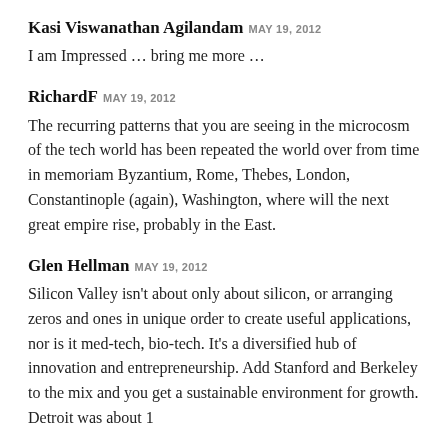Kasi Viswanathan Agilandam MAY 19, 2012
I am Impressed ... bring me more ...
RichardF MAY 19, 2012
The recurring patterns that you are seeing in the microcosm of the tech world has been repeated the world over from time in memoriam Byzantium, Rome, Thebes, London, Constantinople (again), Washington, where will the next great empire rise, probably in the East.
Glen Hellman MAY 19, 2012
Silicon Valley isn’t about only about silicon, or arranging zeros and ones in unique order to create useful applications, nor is it med-tech, bio-tech. It’s a diversified hub of innovation and entrepreneurship. Add Stanford and Berkeley to the mix and you get a sustainable environment for growth. Detroit was about 1